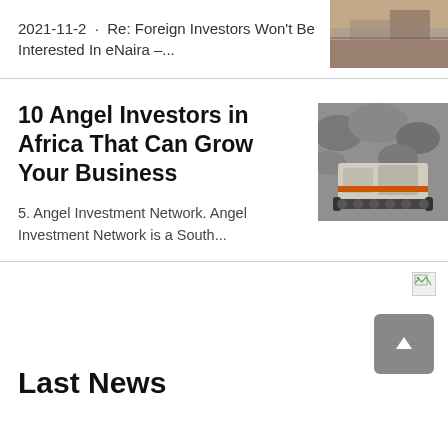2021-11-2 · Re: Foreign Investors Won't Be Interested In eNaira –...
[Figure (photo): Partial industrial/construction scene photo at top right]
10 Angel Investors in Africa That Can Grow Your Business
[Figure (photo): Heavy machinery / mining crusher equipment in rocky terrain]
5. Angel Investment Network. Angel Investment Network is a South...
[Figure (photo): Broken/missing image icon at bottom right]
Last News